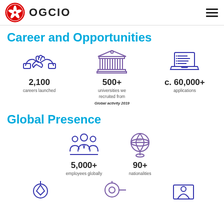OGCIO
Career and Opportunities
[Figure (infographic): Three icons: handshake, university building, laptop. Stats: 2,100 careers launched; 500+ universities we recruited from; c. 60,000+ applications. Global activity 2019.]
Global Presence
[Figure (infographic): Two icons: group of employees, globe. Stats: 5,000+ employees globally; 90+ nationalities.]
[Figure (infographic): Three partial icons at bottom of page.]